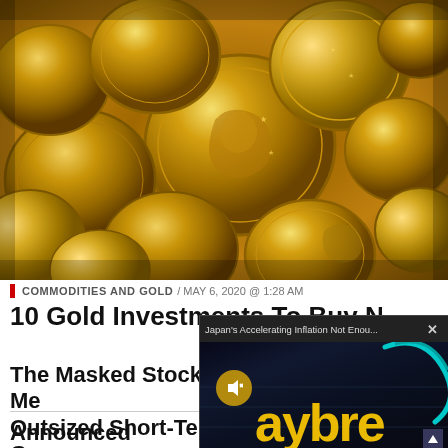[Figure (photo): Close-up photograph of a pile of shiny gold coins filling the entire frame]
COMMODITIES AND GOLD / MAY 6, 2020 @ 1:28 AM
10 Gold Investments To Buy Now
The Masked Stocks: Mega-Cap Tech Stocks For Outsized Short-Term Gains
Announced Collaboration
[Figure (screenshot): Video popup overlay showing 'Japan's Accelerating Inflation Not Enou...' with a muted video player showing the Bloomberg Daybreak logo in yellow text on dark background with cyan arc graphic]